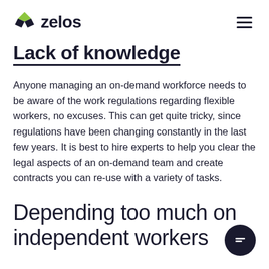zelos
Lack of knowledge
Anyone managing an on-demand workforce needs to be aware of the work regulations regarding flexible workers, no excuses. This can get quite tricky, since regulations have been changing constantly in the last few years. It is best to hire experts to help you clear the legal aspects of an on-demand team and create contracts you can re-use with a variety of tasks.
Depending too much on independent workers